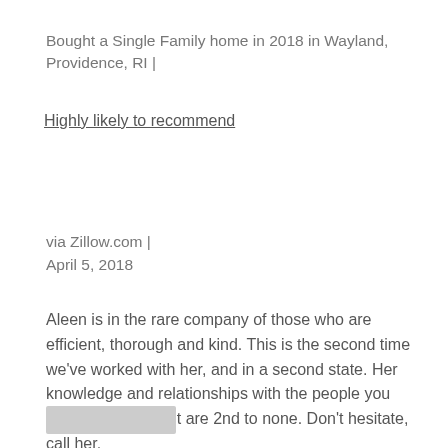Bought a Single Family home in 2018 in Wayland, Providence, RI |
Highly likely to recommend
via Zillow.com |
April 5, 2018
Aleen is in the rare company of those who are efficient, thorough and kind. This is the second time we've worked with her, and in a second state. Her knowledge and relationships with the people you need in this market are 2nd to none. Don't hesitate, call her.